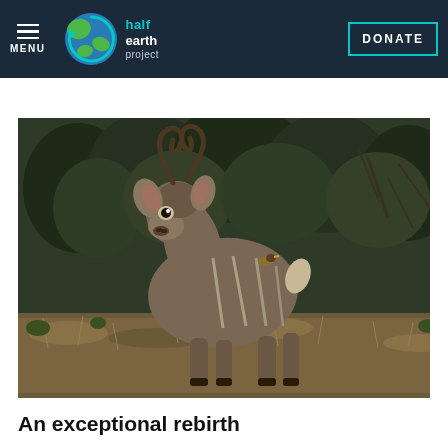MENU | half earth project | DONATE
[Figure (photo): A kudu antelope standing in dry grassland with trees in background, facing the camera, showing distinctive spiral horns and striped body markings]
An exceptional rebirth